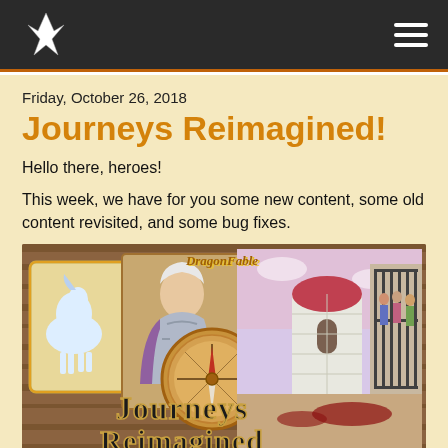DragonFable site header with logo and navigation menu
Friday, October 26, 2018
Journeys Reimagined!
Hello there, heroes!
This week, we have for you some new content, some old content revisited, and some bug fixes.
[Figure (illustration): DragonFable game promotional image titled 'Journeys Reimagined' showing a knight character, a compass, a white horse card, castle scenes, and caged figures in stylized game art]